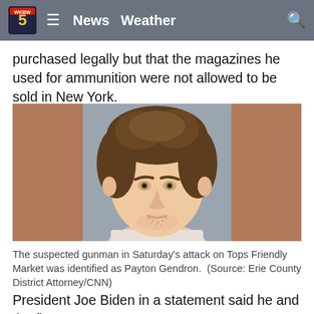News  Weather
purchased legally but that the magazines he used for ammunition were not allowed to be sold in New York.
[Figure (photo): Mugshot photo of the suspected gunman Payton Gendron, a young white male with curly brown hair, against a gray/tan background.]
The suspected gunman in Saturday's attack on Tops Friendly Market was identified as Payton Gendron.  (Source: Erie County District Attorney/CNN)
President Joe Biden in a statement said he and the first